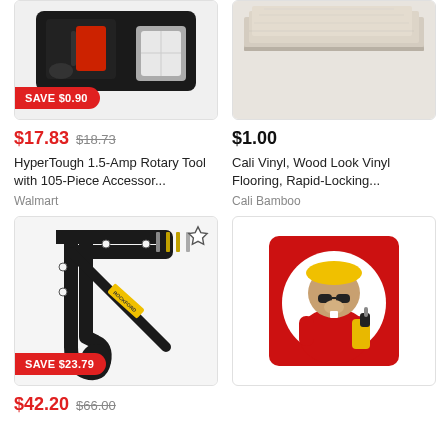[Figure (photo): HyperTough 1.5-Amp Rotary Tool in a case with 105-piece accessories]
SAVE $0.90
$17.83  $18.73
HyperTough 1.5-Amp Rotary Tool with 105-Piece Accessor...
Walmart
[Figure (photo): Cali Vinyl wood look vinyl flooring planks stacked]
$1.00
Cali Vinyl, Wood Look Vinyl Flooring, Rapid-Locking...
Cali Bamboo
[Figure (photo): Black metal shelf bracket with screws and hardware]
SAVE $23.79
$42.20  $66.00
[Figure (logo): Cartoon beaver mascot wearing yellow hard hat and red jacket holding a drill on red background]